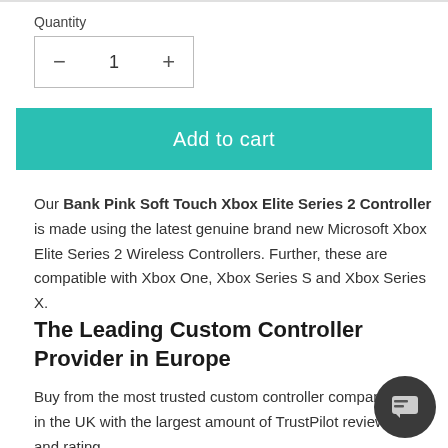Quantity
[Figure (other): Quantity selector with minus button, number 1 in center, plus button]
Add to cart
Our Bank Pink Soft Touch Xbox Elite Series 2 Controller is made using the latest genuine brand new Microsoft Xbox Elite Series 2 Wireless Controllers. Further, these are compatible with Xbox One, Xbox Series S and Xbox Series X.
The Leading Custom Controller Provider in Europe
Buy from the most trusted custom controller company in the UK with the largest amount of TrustPilot reviews and rating.